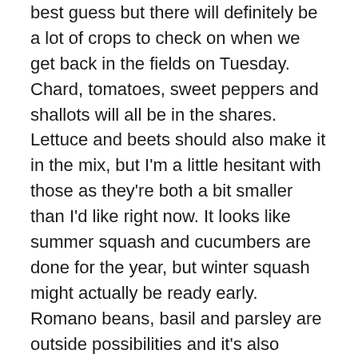best guess but there will definitely be a lot of crops to check on when we get back in the fields on Tuesday. Chard, tomatoes, sweet peppers and shallots will all be in the shares. Lettuce and beets should also make it in the mix, but I'm a little hesitant with those as they're both a bit smaller than I'd like right now. It looks like summer squash and cucumbers are done for the year, but winter squash might actually be ready early. Romano beans, basil and parsley are outside possibilities and it's also possible that I'll find something in the field I've completely overlooked.
Yesterday we got some more fall crop planting done, mustards and more escarole. Next week is pretty much the end of our planting season so we'll hope for some favorable weather to get those plantings in, and then a bit more sun and warmth to get all the crops growing strongly before the days start getting too short.